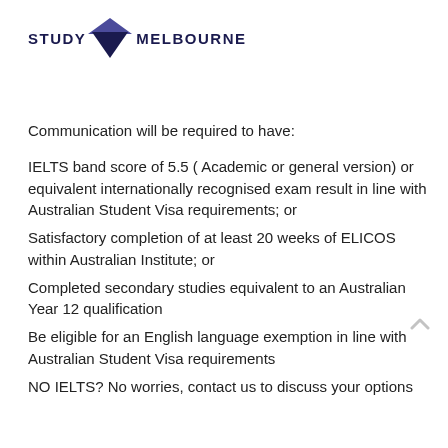[Figure (logo): Study Melbourne logo with dark navy triangle/chevron shape and bold text STUDY MELBOURNE]
Communication will be required to have:
IELTS band score of 5.5 ( Academic or general version) or equivalent internationally recognised exam result in line with Australian Student Visa requirements; or
Satisfactory completion of at least 20 weeks of ELICOS within Australian Institute; or
Completed secondary studies equivalent to an Australian Year 12 qualification
Be eligible for an English language exemption in line with Australian Student Visa requirements
NO IELTS? No worries, contact us to discuss your options